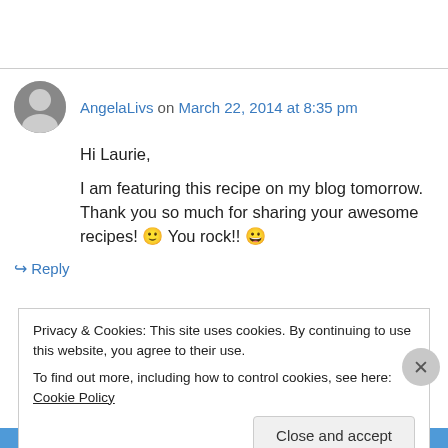AngelaLivs on March 22, 2014 at 8:35 pm
Hi Laurie,
I am featuring this recipe on my blog tomorrow. Thank you so much for sharing your awesome recipes! 🙂 You rock!! 😀
↪ Reply
Privacy & Cookies: This site uses cookies. By continuing to use this website, you agree to their use.
To find out more, including how to control cookies, see here: Cookie Policy
Close and accept